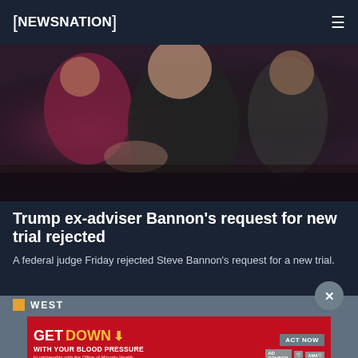NEWSNATION
[Figure (photo): Photo of Steve Bannon in a crowd, wearing dark clothing]
Trump ex-adviser Bannon's request for new trial rejected
A federal judge Friday rejected Steve Bannon's request for a new trial.
WEST
[Figure (other): Advertisement banner: GET DOWN WITH YOUR BLOOD PRESSURE - ACT NOW - In partnership with the Office of Minority Health and Health Resources & Services Administration]